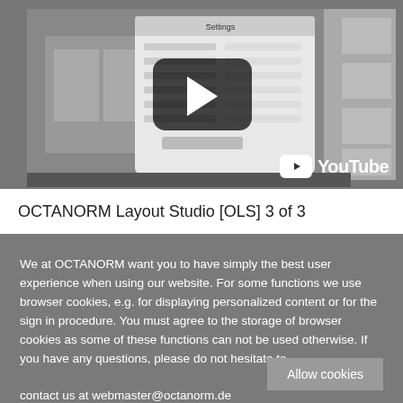[Figure (screenshot): YouTube video thumbnail showing OCTANORM Layout Studio software with a play button overlay]
OCTANORM Layout Studio [OLS] 3 of 3
We at OCTANORM want you to have simply the best user experience when using our website. For some functions we use browser cookies, e.g. for displaying personalized content or for the sign in procedure. You must agree to the storage of browser cookies as some of these functions can not be used otherwise. If you have any questions, please do not hesitate to contact us at webmaster@octanorm.de